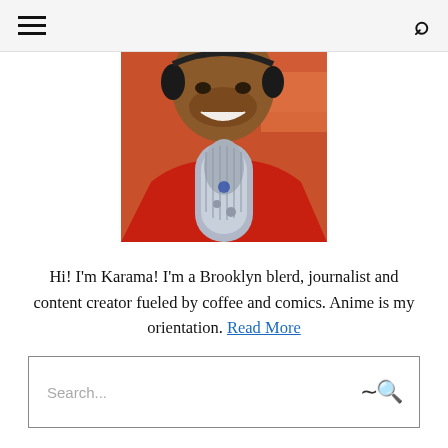≡  🔍
[Figure (photo): A smiling woman with headphones and white hair accessory, wearing a red top, holding or near a large silver microphone (Blue Yeti style). Colorful background visible.]
Hi! I'm Karama! I'm a Brooklyn blerd, journalist and content creator fueled by coffee and comics. Anime is my orientation. Read More
Search...